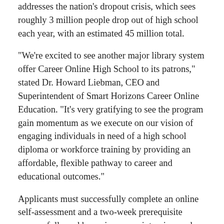addresses the nation's dropout crisis, which sees roughly 3 million people drop out of high school each year, with an estimated 45 million total.
“We’re excited to see another major library system offer Career Online High School to its patrons,” stated Dr. Howard Liebman, CEO and Superintendent of Smart Horizons Career Online Education. “It’s very gratifying to see the program gain momentum as we execute on our vision of engaging individuals in need of a high school diploma or workforce training by providing an affordable, flexible pathway to career and educational outcomes.”
Applicants must successfully complete an online self-assessment and a two-week prerequisite course, followed by an in-person interview and a scholarship review process. Once enrolled, the program pairs each student with an academic coach who provides the student with an individual career path, offers ongoing guidance, evaluates performance and connects the student with the resources needed to master the courses. Students will be given up to 18 months to complete the program.
The Public Library of Cincinnati and Hamilton County is offering Career Online High School to diversify the library’s broad and...